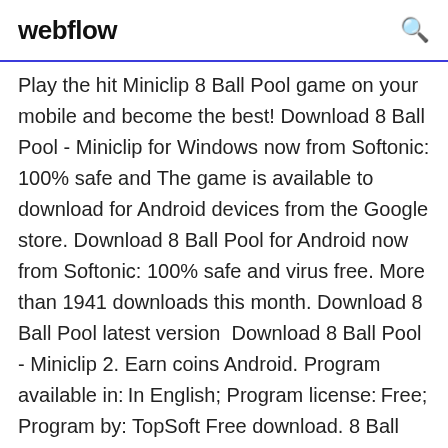webflow
Play the hit Miniclip 8 Ball Pool game on your mobile and become the best! Download 8 Ball Pool - Miniclip for Windows now from Softonic: 100% safe and The game is available to download for Android devices from the Google store. Download 8 Ball Pool for Android now from Softonic: 100% safe and virus free. More than 1941 downloads this month. Download 8 Ball Pool latest version  Download 8 Ball Pool - Miniclip 2. Earn coins Android. Program available in: In English; Program license: Free; Program by: TopSoft Free download. 8 Ball
Play 8 Ball Pool - Play 8 Ball Pool against other players online! Also available for FREE on